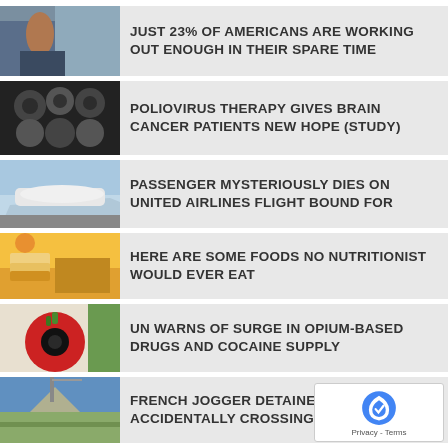[Figure (photo): Woman doing exercise / working out]
JUST 23% OF AMERICANS ARE WORKING OUT ENOUGH IN THEIR SPARE TIME
[Figure (photo): Brain MRI scans]
POLIOVIRUS THERAPY GIVES BRAIN CANCER PATIENTS NEW HOPE (STUDY)
[Figure (photo): Airplane in flight]
PASSENGER MYSTERIOUSLY DIES ON UNITED AIRLINES FLIGHT BOUND FOR
[Figure (photo): Unhealthy processed foods]
HERE ARE SOME FOODS NO NUTRITIONIST WOULD EVER EAT
[Figure (photo): Red poppy flower]
UN WARNS OF SURGE IN OPIUM-BASED DRUGS AND COCAINE SUPPLY
[Figure (photo): Landscape with antenna / border crossing]
FRENCH JOGGER DETAINED 2 WEEKS FOR ACCIDENTALLY CROSSING BORDER
[Figure (photo): Person photo]
NORMALIZING PLUS SIZE COULD FUEL